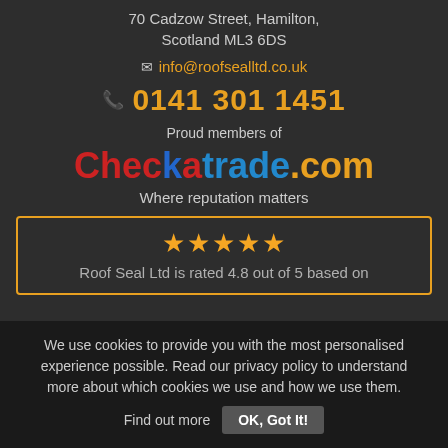70 Cadzow Street, Hamilton, Scotland ML3 6DS
info@roofsealltd.co.uk
0141 301 1451
Proud members of
[Figure (logo): Checkatrade.com logo with tagline 'Where reputation matters']
★★★★★ Roof Seal Ltd is rated 4.8 out of 5 based on
We use cookies to provide you with the most personalised experience possible. Read our privacy policy to understand more about which cookies we use and how we use them. Find out more  OK, Got It!